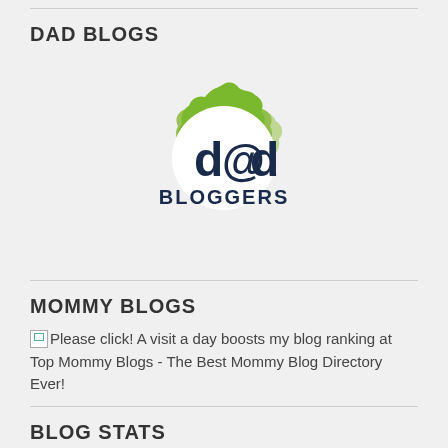DAD BLOGS
[Figure (logo): Dad Bloggers logo: green scalloped badge shape with 'd@d BLOGGERS' text in dark navy, overlapping layered green circles]
MOMMY BLOGS
Please click! A visit a day boosts my blog ranking at Top Mommy Blogs - The Best Mommy Blog Directory Ever!
BLOG STATS